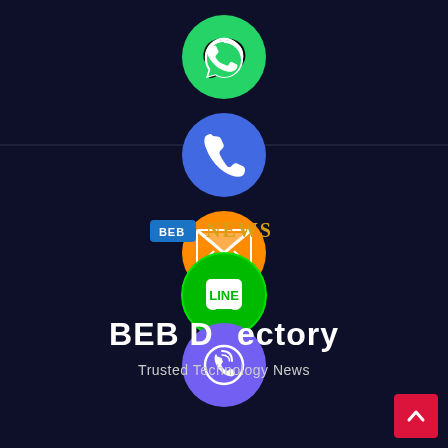[Figure (infographic): A dark navy background page showing a vertical column of social media/contact app icons: WhatsApp (green), Phone (blue), Email (orange), LINE (green), Viber (purple), and a close/X button (green). Also shows BEB News logo and BEB Directory branding with tagline 'Trusted Technology News'. A red scroll-to-top button is in the bottom right corner.]
BEB Directory
Trusted Technology News